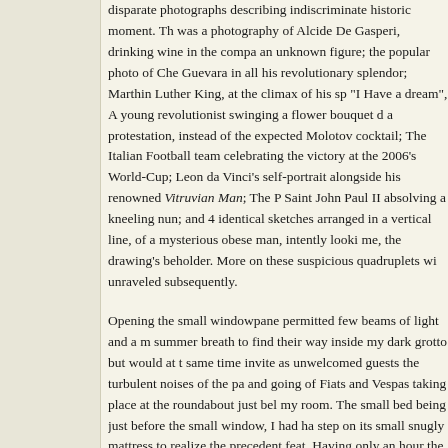disparate photographs describing indiscriminate historic moment. There was a photography of Alcide De Gasperi, drinking wine in the company of an unknown figure; the popular photo of Che Guevara in all his revolutionary splendor; Marthin Luther King, at the climax of his speech "I Have a dream", A young revolutionist swinging a flower bouquet during a protestation, instead of the expected Molotov cocktail; The Italian Football team celebrating the victory at the 2006's World-Cup; Leonardo da Vinci's self-portrait alongside his renowned Vitruvian Man; The Pope Saint John Paul II absolving a kneeling nun; and 4 identical sketches arranged in a vertical line, of a mysterious obese man, intently looking at me, the drawing's beholder. More on these suspicious quadruplets will be unraveled subsequently.
Opening the small windowpane permitted few beams of light and a mild summer breath to find their way inside my dark grotto but would at the same time invite as unwelcomed guests the turbulent noises of the passing and going of Fiats and Vespas taking place at the roundabout just below my room. The small bed being just before the small window, I had had to step on its small snugly mattress to realize the precedent feat. Having slept only an hour the preceding night, I could no longer resist the temptation of a minute of respite and laid down on its entirety, my long right leg dangling freely at its side. I had inadvertently left the window half-open, as to profit from neither of the advantages precedently described, but my body did not concern itself with these banalities nor for the fact that we were in the middle of the afternoon, and fell asleep a second after I had